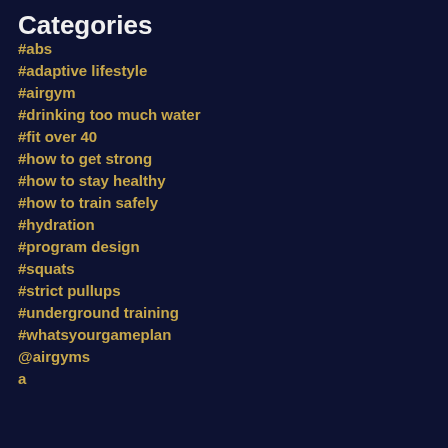Categories
#abs
#adaptive lifestyle
#airgym
#drinking too much water
#fit over 40
#how to get strong
#how to stay healthy
#how to train safely
#hydration
#program design
#squats
#strict pullups
#underground training
#whatsyourgameplan
@airgyms
a